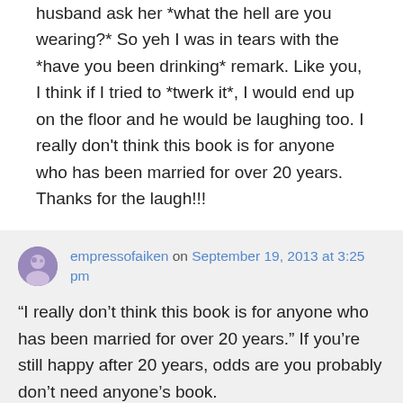husband ask her *what the hell are you wearing?* So yeh I was in tears with the *have you been drinking* remark. Like you, I think if I tried to *twerk it*, I would end up on the floor and he would be laughing too. I really don't think this book is for anyone who has been married for over 20 years. Thanks for the laugh!!!
empressofaiken on September 19, 2013 at 3:25 pm
“I really don't think this book is for anyone who has been married for over 20 years.” If you’re still happy after 20 years, odds are you probably don’t need anyone’s book. I’m so glad you got a chuckle out of it 😶